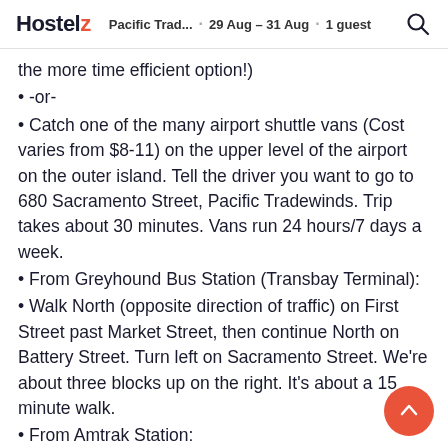Hostelz  Pacific Trad...  29 Aug - 31 Aug  1 guest
the more time efficient option!)
• -or-
• Catch one of the many airport shuttle vans (Cost varies from $8-11) on the upper level of the airport on the outer island. Tell the driver you want to go to 680 Sacramento Street, Pacific Tradewinds. Trip takes about 30 minutes. Vans run 24 hours/7 days a week.
• From Greyhound Bus Station (Transbay Terminal):
• Walk North (opposite direction of traffic) on First Street past Market Street, then continue North on Battery Street. Turn left on Sacramento Street. We're about three blocks up on the right. It's about a 15 minute walk.
• From Amtrak Station:
• After getting off the Amtrak Thruway Bus at the San Francisco Ferry Terminal walk across the Embarcadero waterfront road to Justin Herman